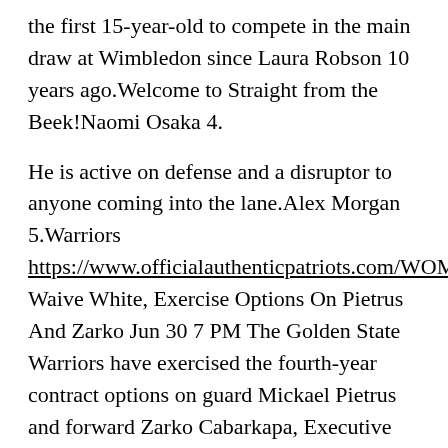the first 15-year-old to compete in the main draw at Wimbledon since Laura Robson 10 years ago.Welcome to Straight from the Beek!Naomi Osaka 4.
He is active on defense and a disruptor to anyone coming into the lane.Alex Morgan 5.Warriors https://www.officialauthenticpatriots.com/WOMENS_YOUTH_ISAIAH_WYNN_JERSEY.html Waive White, Exercise Options On Pietrus And Zarko Jun 30 7 PM The Golden State Warriors have exercised the fourth-year contract options on guard Mickael Pietrus and forward Zarko Cabarkapa, Executive Vice President of Basketball Operations Chris Mullin announced today.Last month, the NFL signed Caesars Entertainment as the league's first casino partner.Named as members of the official 2014 USA Basketball World Cup Team were: DeMarcus Cousins ; Stephen Curry ; Anthony Davis ; DeMar DeRozan ;